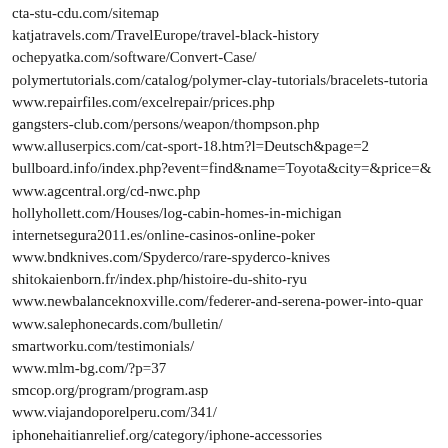cta-stu-cdu.com/sitemap
katjatravels.com/TravelEurope/travel-black-history
ochepyatka.com/software/Convert-Case/
polymertutorials.com/catalog/polymer-clay-tutorials/bracelets-tutoria
www.repairfiles.com/excelrepair/prices.php
gangsters-club.com/persons/weapon/thompson.php
www.alluserpics.com/cat-sport-18.htm?l=Deutsch&page=2
bullboard.info/index.php?event=find&name=Toyota&city=&price=&
www.agcentral.org/cd-nwc.php
hollyhollett.com/Houses/log-cabin-homes-in-michigan
internetsegura2011.es/online-casinos-online-poker
www.bndknives.com/Spyderco/rare-spyderco-knives
shitokaienborn.fr/index.php/histoire-du-shito-ryu
www.newbalanceknoxville.com/federer-and-serena-power-into-quar
www.salephonecards.com/bulletin/
smartworku.com/testimonials/
www.mlm-bg.com/?p=37
smcop.org/program/program.asp
www.viajandoporelperu.com/341/
iphonehaitianrelief.org/category/iphone-accessories
hotel-restaurante.com/381/
sc2rep.net/Install/how-to-install-gate-latch
300td.org/merc-230